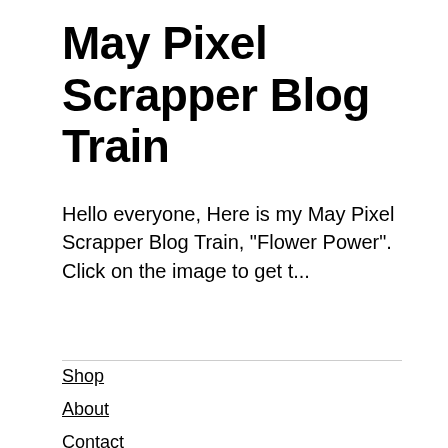May Pixel Scrapper Blog Train
Hello everyone, Here is my May Pixel Scrapper Blog Train, "Flower Power". Click on the image to get t...
Shop
About
Contact
Facebook
Instagram